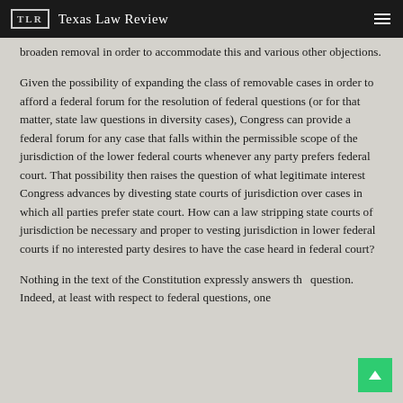TLR Texas Law Review
broaden removal in order to accommodate this and various other objections.
Given the possibility of expanding the class of removable cases in order to afford a federal forum for the resolution of federal questions (or for that matter, state law questions in diversity cases), Congress can provide a federal forum for any case that falls within the permissible scope of the jurisdiction of the lower federal courts whenever any party prefers federal court. That possibility then raises the question of what legitimate interest Congress advances by divesting state courts of jurisdiction over cases in which all parties prefer state court. How can a law stripping state courts of jurisdiction be necessary and proper to vesting jurisdiction in lower federal courts if no interested party desires to have the case heard in federal court?
Nothing in the text of the Constitution expressly answers the question. Indeed, at least with respect to federal questions, one